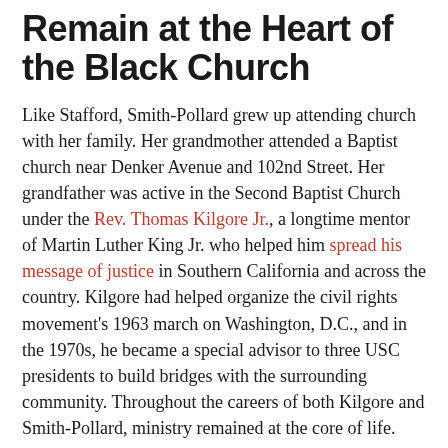Remain at the Heart of the Black Church
Like Stafford, Smith-Pollard grew up attending church with her family. Her grandmother attended a Baptist church near Denker Avenue and 102nd Street. Her grandfather was active in the Second Baptist Church under the Rev. Thomas Kilgore Jr., a longtime mentor of Martin Luther King Jr. who helped him spread his message of justice in Southern California and across the country. Kilgore had helped organize the civil rights movement's 1963 march on Washington, D.C., and in the 1970s, he became a special advisor to three USC presidents to build bridges with the surrounding community. Throughout the careers of both Kilgore and Smith-Pollard, ministry remained at the core of life.